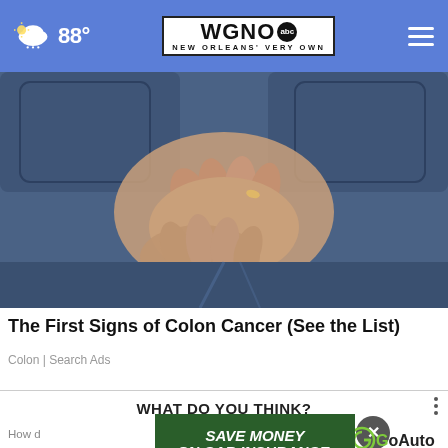88° | WGNO ABC | NEW ORLEANS' VERY OWN
[Figure (photo): Person wearing blue jeans clasping hands together at lower abdomen/hip area, viewed from front, close-up shot]
The First Signs of Colon Cancer (See the List)
Colon | Search Ads
WHAT DO YOU THINK?
How d
rule in
Medic
it?
[Figure (infographic): GoAuto advertisement banner: SAVE MONEY ON CAR INSURANCE. 833-700-0000 with GoAuto logo]